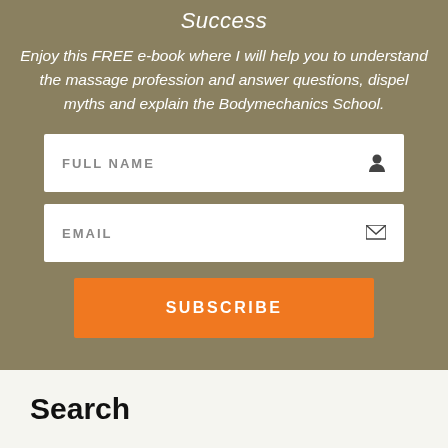Success
Enjoy this FREE e-book where I will help you to understand the massage profession and answer questions, dispel myths and explain the Bodymechanics School.
[Figure (other): FULL NAME input field with person icon]
[Figure (other): EMAIL input field with envelope icon]
[Figure (other): SUBSCRIBE orange button]
Search